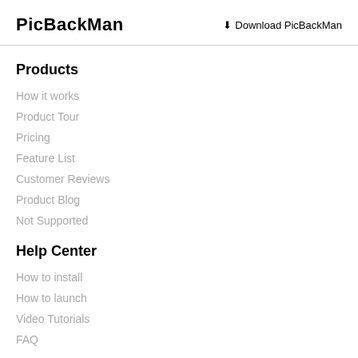PicBackMan | Download PicBackMan
Products
How it works
Product Tour
Pricing
Feature List
Customer Reviews
Product Blog
Not Supported
Help Center
How to install
How to launch
Video Tutorials
FAQ